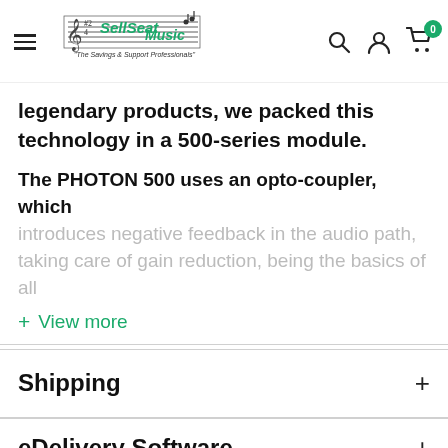SellSeat Music - The Savings & Support Professionals
legendary products, we packed this technology in a 500-series module.
The PHOTON 500 uses an opto-coupler, which introduces negative feedback in the audio path, taking care of gain reduction, being the basics of all
+ View more
Shipping
eDelivery Software